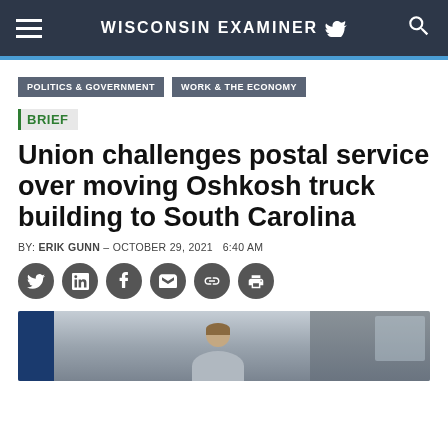WISCONSIN EXAMINER
POLITICS & GOVERNMENT
WORK & THE ECONOMY
BRIEF
Union challenges postal service over moving Oshkosh truck building to South Carolina
BY: ERIK GUNN – OCTOBER 29, 2021  6:40 AM
[Figure (other): Social sharing icons row: Twitter, LinkedIn, Facebook, Email, Link, Print]
[Figure (photo): Photo of a person near a postal service truck, partially visible, cropped at bottom of page]